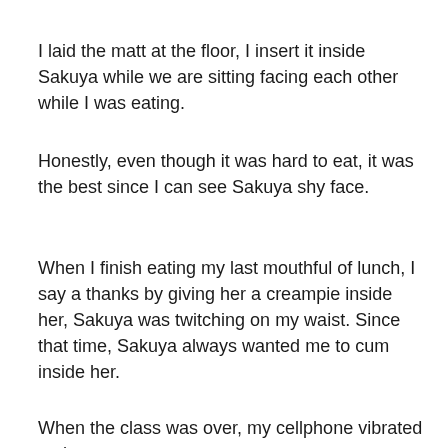I laid the matt at the floor, I insert it inside Sakuya while we are sitting facing each other while I was eating.
Honestly, even though it was hard to eat, it was the best since I can see Sakuya shy face.
When I finish eating my last mouthful of lunch, I say a thanks by giving her a creampie inside her, Sakuya was twitching on my waist. Since that time, Sakuya always wanted me to cum inside her.
When the class was over, my cellphone vibrated at the